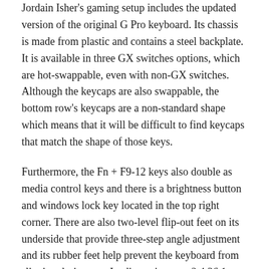Jordain Isher's gaming setup includes the updated version of the original G Pro keyboard. Its chassis is made from plastic and contains a steel backplate. It is available in three GX switches options, which are hot-swappable, even with non-GX switches. Although the keycaps are also swappable, the bottom row's keycaps are a non-standard shape which means that it will be difficult to find keycaps that match the shape of those keys.
Furthermore, the Fn + F9-12 keys also double as media control keys and there is a brightness button and windows lock key located in the top right corner. There are also two-level flip-out feet on its underside that provide three-step angle adjustment and its rubber feet help prevent the keyboard from slipping during use. Its dimensions are 2.4 36.1 x 15.3cm (1.3 x 14.2 x 6.02") and it weighs 1.3kg (2.88lbs.) It is compatible with Windows 7 or later, macOS 10.11 or later, PS4, Xbox One and Nintendo Switch devices.